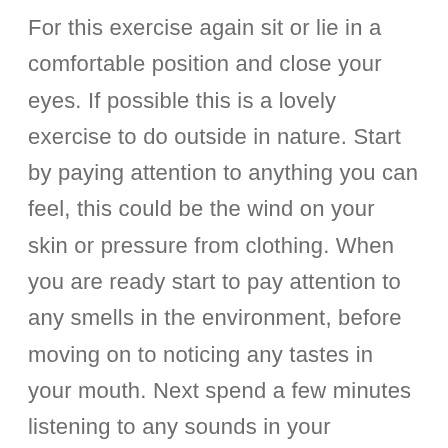For this exercise again sit or lie in a comfortable position and close your eyes. If possible this is a lovely exercise to do outside in nature. Start by paying attention to anything you can feel, this could be the wind on your skin or pressure from clothing. When you are ready start to pay attention to any smells in the environment, before moving on to noticing any tastes in your mouth. Next spend a few minutes listening to any sounds in your environment. Finally open your eyes and really notice what you can see, pay attention to the shapes, colors and movement all around. For those that need a little help you can provide props to pay attention to at each stage of the journey for example deep pressure or a water spray to bring